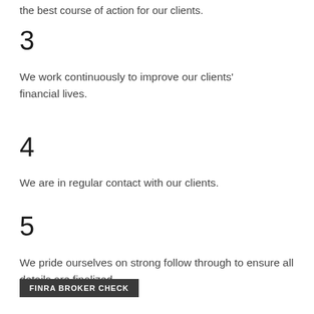the best course of action for our clients.
3
We work continuously to improve our clients' financial lives.
4
We are in regular contact with our clients.
5
We pride ourselves on strong follow through to ensure all details are finalized.
FINRA BROKER CHECK